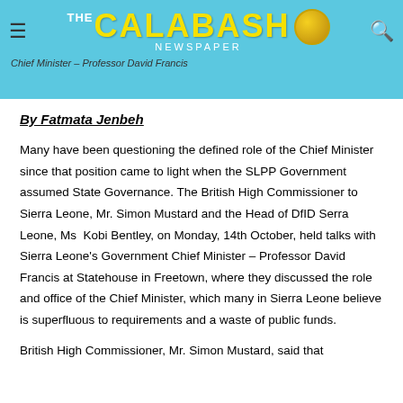[Figure (logo): The Calabash Newspaper logo with hamburger menu icon on left and search icon on right, on a light blue header bar. Subtitle reads: Chief Minister – Professor David Francis]
By Fatmata Jenbeh
Many have been questioning the defined role of the Chief Minister since that position came to light when the SLPP Government assumed State Governance. The British High Commissioner to Sierra Leone, Mr. Simon Mustard and the Head of DfID Serra Leone, Ms  Kobi Bentley, on Monday, 14th October, held talks with Sierra Leone's Government Chief Minister – Professor David Francis at Statehouse in Freetown, where they discussed the role and office of the Chief Minister, which many in Sierra Leone believe is superfluous to requirements and a waste of public funds.
British High Commissioner, Mr. Simon Mustard, said that